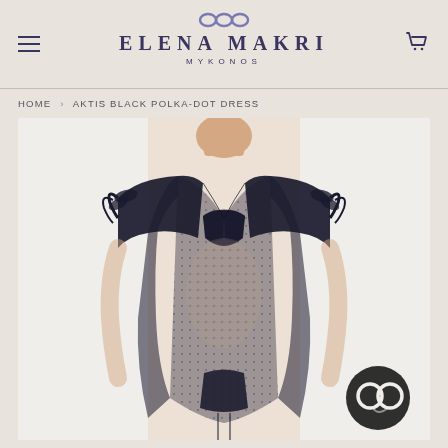ELENA MAKRI MYKONOS
HOME › AKTIS BLACK POLKA-DOT DRESS
[Figure (photo): Woman wearing the Aktis Black Polka-Dot Dress, a sheer black mesh/net dress with V-neck and ruffled cap sleeves, shown from neck to mid-thigh against a white background.]